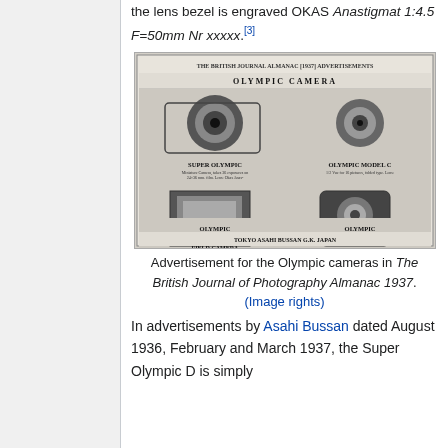the lens bezel is engraved OKAS Anastigmat 1:4.5 F=50mm Nr xxxxx.[3]
[Figure (photo): Advertisement for Olympic cameras from The British Journal of Photography Almanac 1937, showing Super Olympic, Olympic Model C, The Asahi Field Camera, Olympic Model B, Olympic Tripod, and Olympic Enlarger, published by Tokyo Asahi Bussan G.K., Japan]
Advertisement for the Olympic cameras in The British Journal of Photography Almanac 1937.
(Image rights)
In advertisements by Asahi Bussan dated August 1936, February and March 1937, the Super Olympic D is simply